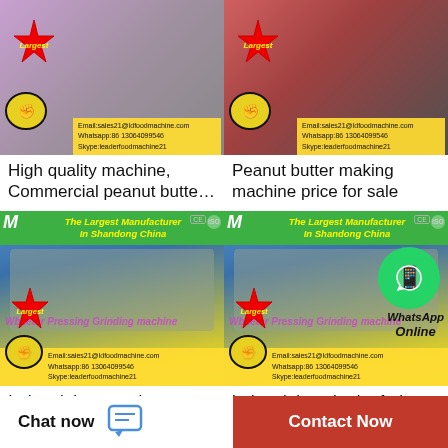[Figure (photo): Product listing image for high quality commercial peanut butter machine with contact info overlay - purple/grey background]
[Figure (photo): Product listing image for peanut butter making machine for sale with contact info overlay - red/grey background]
High quality machine, Commercial peanut butte…
Peanut butter making machine price for sale
[Figure (photo): Industrial peanut butter machine - blue and yellow background with green manufacturer banner, The Largest Manufacturer In Shandong China, ISO CE certified]
[Figure (photo): Industrial apple dry fruit machine - same manufacturer branding with WhatsApp Online overlay]
Industrial peanut butter
industrial apple dry fruit
Chat now
Contact Now